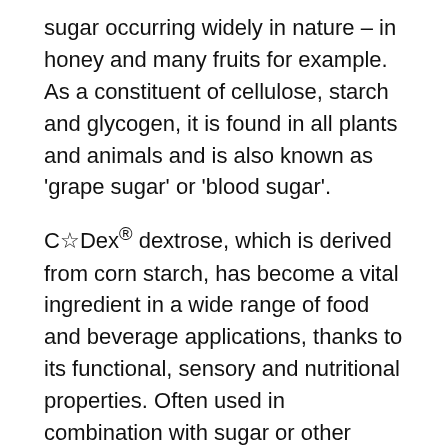sugar occurring widely in nature – in honey and many fruits for example. As a constituent of cellulose, starch and glycogen, it is found in all plants and animals and is also known as 'grape sugar' or 'blood sugar'.
C☆Dex® dextrose, which is derived from corn starch, has become a vital ingredient in a wide range of food and beverage applications, thanks to its functional, sensory and nutritional properties. Often used in combination with sugar or other sweeteners, it shortens the sweetness perception and enhances the original food and beverage flavors.
Nutritional properties
Dextrose, just like sucrose and other full caloric sweeteners – has a caloric value of 4 Kcal/g, producing a rapid glycemic response. It provides an immediate source of energy for the organs, muscles and brain.